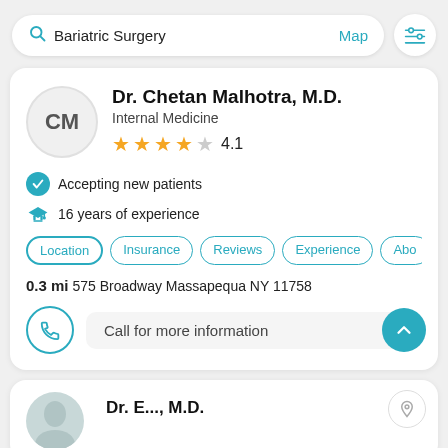[Figure (screenshot): Search bar with 'Bariatric Surgery' text, Map link, and filter icon button]
Dr. Chetan Malhotra, M.D.
Internal Medicine
4.1 stars
Accepting new patients
16 years of experience
Location
Insurance
Reviews
Experience
Abo
0.3 mi 575 Broadway Massapequa NY 11758
Call for more information
[Figure (screenshot): Partial second doctor card with photo and name beginning 'Dr. E..., M.D.']